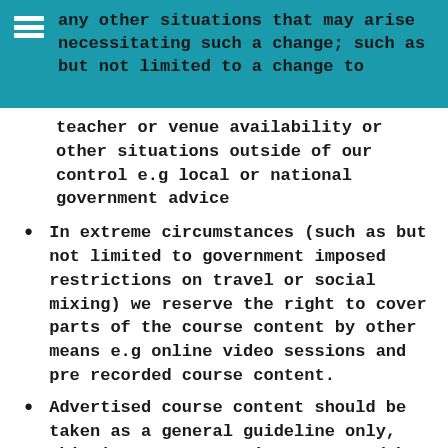any other situations that may arise necessitating such a change; such as but not limited to a change to
teacher or venue availability or other situations outside of our control e.g local or national government advice
In extreme circumstances (such as but not limited to government imposed restrictions on travel or social mixing) we reserve the right to cover parts of the course content by other means e.g online video sessions and pre recorded course content.
Advertised course content should be taken as a general guideline only, this is a very organic course and by its nature the content changes regularly.
8. Personal Liability
If YOU are aware YOU are going to be late, please